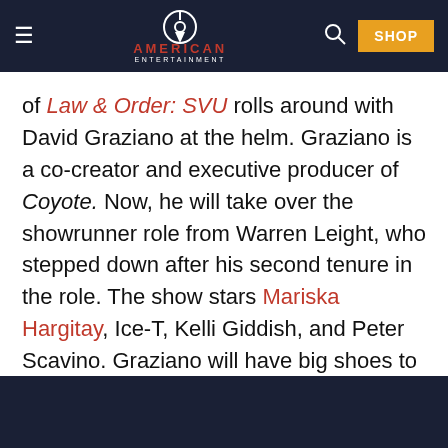AMERICAN ENTERTAINMENT — navigation bar with logo, search, and SHOP button
of Law & Order: SVU rolls around with David Graziano at the helm. Graziano is a co-creator and executive producer of Coyote. Now, he will take over the showrunner role from Warren Leight, who stepped down after his second tenure in the role. The show stars Mariska Hargitay, Ice-T, Kelli Giddish, and Peter Scavino. Graziano will have big shoes to fill as the show is currently the longest-running live-action primetime series in TV history.